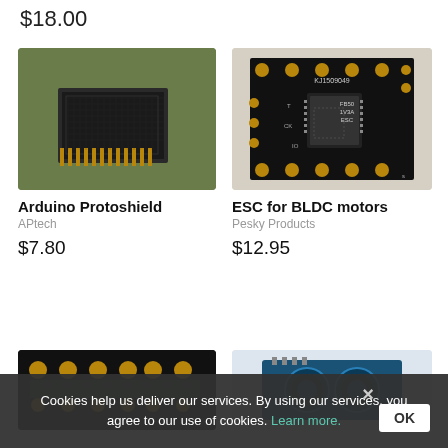$18.00
[Figure (photo): Arduino Protoshield PCB board on green background]
[Figure (photo): ESC for BLDC motors small circuit board on grey background]
Arduino Protoshield
APtech
$7.80
ESC for BLDC motors
Pesky Products
$12.95
[Figure (photo): Electronic component board, partial view at bottom left]
[Figure (photo): Electronic sensor module, partial view at bottom right]
Cookies help us deliver our services. By using our services, you agree to our use of cookies. Learn more.